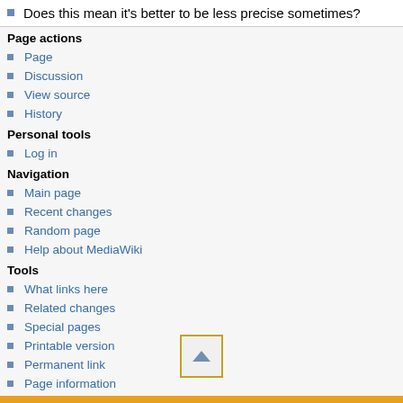Does this mean it's better to be less precise sometimes?
Page actions
Page
Discussion
View source
History
Personal tools
Log in
Navigation
Main page
Recent changes
Random page
Help about MediaWiki
Tools
What links here
Related changes
Special pages
Printable version
Permanent link
Page information